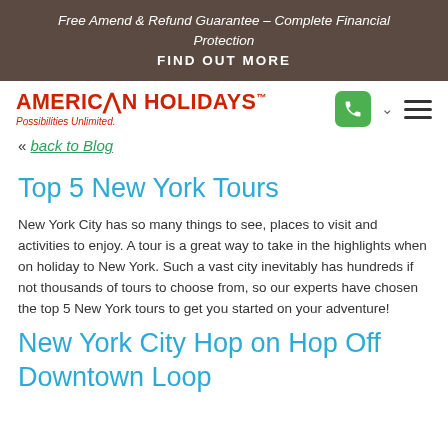Free Amend & Refund Guarantee – Complete Financial Protection
FIND OUT MORE
[Figure (logo): American Holidays logo with tagline Possibilities Unlimited.]
« back to Blog
Top 5 New York Tours
New York City has so many things to see, places to visit and activities to enjoy. A tour is a great way to take in the highlights when on holiday to New York. Such a vast city inevitably has hundreds if not thousands of tours to choose from, so our experts have chosen the top 5 New York tours to get you started on your adventure!
New York City Hop on Hop Off Downtown Loop